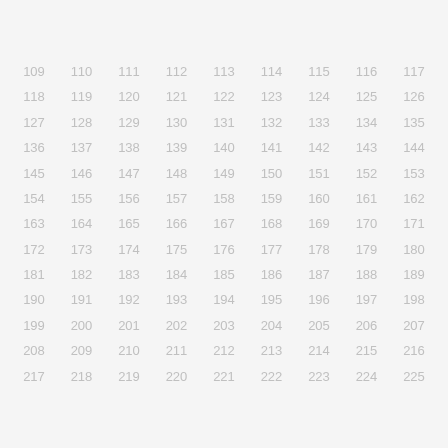109 110 111 112 113 114 115 116 117 118 119 120 121 122 123 124 125 126 127 128 129 130 131 132 133 134 135 136 137 138 139 140 141 142 143 144 145 146 147 148 149 150 151 152 153 154 155 156 157 158 159 160 161 162 163 164 165 166 167 168 169 170 171 172 173 174 175 176 177 178 179 180 181 182 183 184 185 186 187 188 189 190 191 192 193 194 195 196 197 198 199 200 201 202 203 204 205 206 207 208 209 210 211 212 213 214 215 216 217 218 219 220 221 222 223 224 225